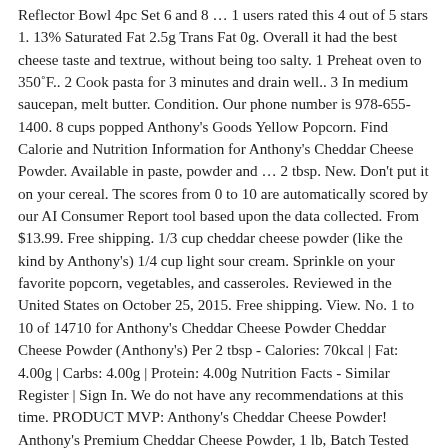Reflector Bowl 4pc Set 6 and 8 … 1 users rated this 4 out of 5 stars 1. 13% Saturated Fat 2.5g Trans Fat 0g. Overall it had the best cheese taste and textrue, without being too salty. 1 Preheat oven to 350˚F.. 2 Cook pasta for 3 minutes and drain well.. 3 In medium saucepan, melt butter. Condition. Our phone number is 978-655-1400. 8 cups popped Anthony's Goods Yellow Popcorn. Find Calorie and Nutrition Information for Anthony's Cheddar Cheese Powder. Available in paste, powder and … 2 tbsp. New. Don't put it on your cereal. The scores from 0 to 10 are automatically scored by our AI Consumer Report tool based upon the data collected. From $13.99. Free shipping. 1/3 cup cheddar cheese powder (like the kind by Anthony's) 1/4 cup light sour cream. Sprinkle on your favorite popcorn, vegetables, and casseroles. Reviewed in the United States on October 25, 2015. Free shipping. View. No. 1 to 10 of 14710 for Anthony's Cheddar Cheese Powder Cheddar Cheese Powder (Anthony's) Per 2 tbsp - Calories: 70kcal | Fat: 4.00g | Carbs: 4.00g | Protein: 4.00g Nutrition Facts - Similar Register | Sign In. We do not have any recommendations at this time. PRODUCT MVP: Anthony's Cheddar Cheese Powder! Anthony's Premium Cheddar Cheese Powder, 1 lb, Batch Tested and Verified Gluten Free, No Artificial Colors, Keto Friendly. Use on broccoli, cauliflower, and asparagus dishes, as well as hamburger and pasta casseroles Cheddar cheese powder is the mmm behind Dad's … 4.00g. Calories % Daily Value* 6%. 0%. Protein. 0 users rated this 3 out of 5 stars 0. 2 tbsp. 0%. 5%. Prime